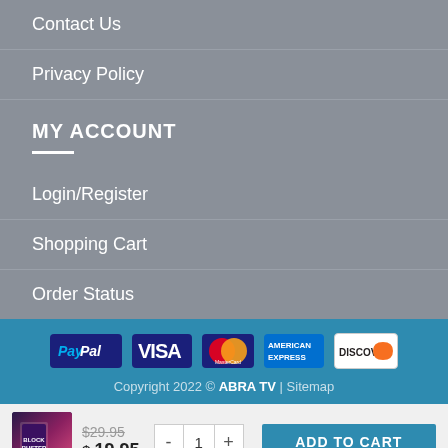Contact Us
Privacy Policy
MY ACCOUNT
Login/Register
Shopping Cart
Order Status
[Figure (logo): Payment method icons: PayPal, VISA, MasterCard, American Express, Discover]
Copyright 2022 © ABRA TV | Sitemap
[Figure (photo): Product thumbnail image for Blockbuster game]
$29.95 $19.95
- 1 + ADD TO CART